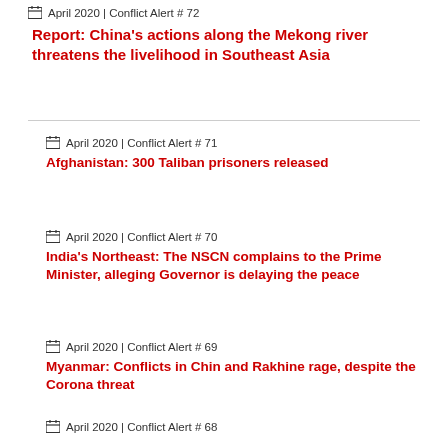April 2020 | Conflict Alert # 72
Report: China's actions along the Mekong river threatens the livelihood in Southeast Asia
April 2020 | Conflict Alert # 71
Afghanistan: 300 Taliban prisoners released
April 2020 | Conflict Alert # 70
India's Northeast: The NSCN complains to the Prime Minister, alleging Governor is delaying the peace
April 2020 | Conflict Alert # 69
Myanmar: Conflicts in Chin and Rakhine rage, despite the Corona threat
April 2020 | Conflict Alert # 68